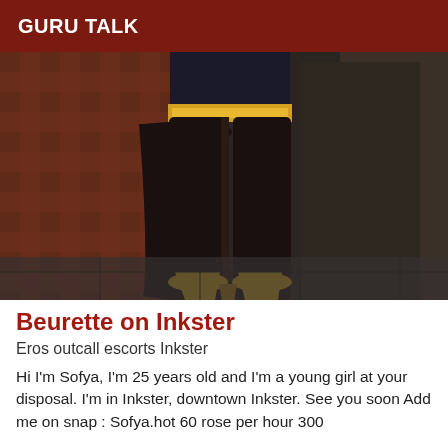GURU TALK
[Figure (photo): Photo showing legs of a person wearing black stockings, a dark short skirt with yellow waistband, and gold high heels, standing on a dark stone floor with a textured wall in the background.]
Beurette on Inkster
Eros outcall escorts Inkster
Hi I'm Sofya, I'm 25 years old and I'm a young girl at your disposal. I'm in Inkster, downtown Inkster. See you soon Add me on snap : Sofya.hot 60 rose per hour 300